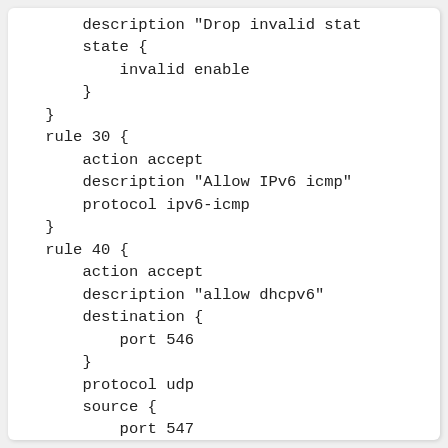description "Drop invalid sta"
            state {
                invalid enable
            }
        }
        rule 30 {
            action accept
            description "Allow IPv6 icmp"
            protocol ipv6-icmp
        }
        rule 40 {
            action accept
            description "allow dhcpv6"
            destination {
                port 546
            }
            protocol udp
            source {
                port 547
            }
        }